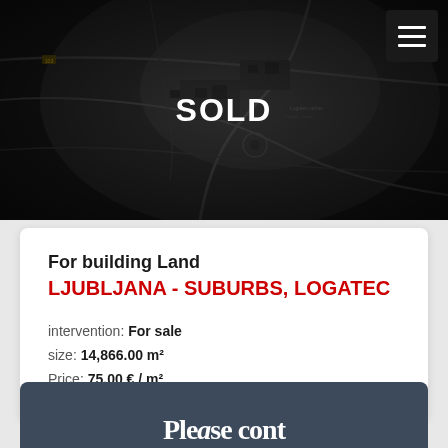[Figure (map): Dark aerial/satellite map view of Logatec area with roads and urban areas visible, overlaid with SOLD text in white]
SOLD
For building Land
LJUBLJANA - SUBURBS, LOGATEC

intervention: For sale
size: 14,866.00 m²
Price: 75.00 € / m²
[Figure (other): Dark blue-grey rounded card section at bottom, partially visible, showing decorative serif text]